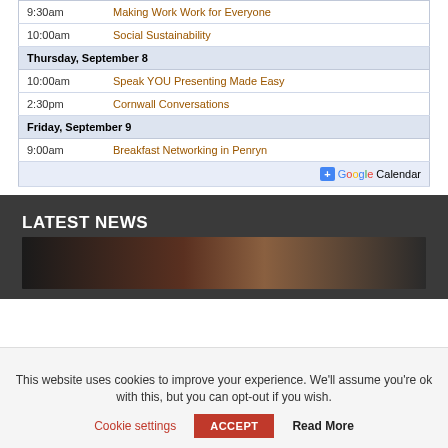| Time | Event |
| --- | --- |
| 9:30am | Making Work Work for Everyone |
| Thursday, September 8 |  |
| 10:00am | Speak YOU Presenting Made Easy |
| 2:30pm | Cornwall Conversations |
| Friday, September 9 |  |
| 9:00am | Breakfast Networking in Penryn |
|  | + Google Calendar |
LATEST NEWS
[Figure (photo): Partial photo strip showing blurred objects in dark tones]
This website uses cookies to improve your experience. We'll assume you're ok with this, but you can opt-out if you wish.